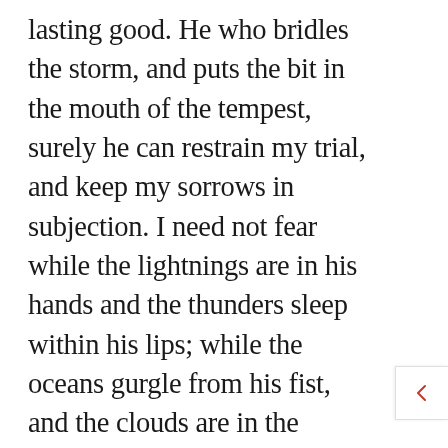lasting good. He who bridles the storm, and puts the bit in the mouth of the tempest, surely he can restrain my trial, and keep my sorrows in subjection. I need not fear while the lightnings are in his hands and the thunders sleep within his lips; while the oceans gurgle from his fist, and the clouds are in the hollow of his hands; while the rivers are turned by his foot, and while he diggeth the channels of the sea. Surely he whose might wings an angel, can furnish a worm with strength; he who guides a cherub will not be overcome